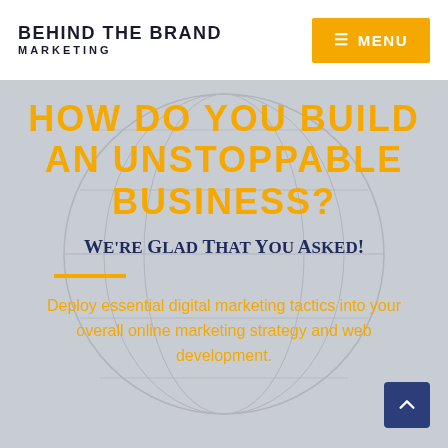BEHIND THE BRAND MARKETING
HOW DO YOU BUILD AN UNSTOPPABLE BUSINESS?
We're Glad That You Asked!
Deploy essential digital marketing tactics into your overall online marketing strategy and web development.